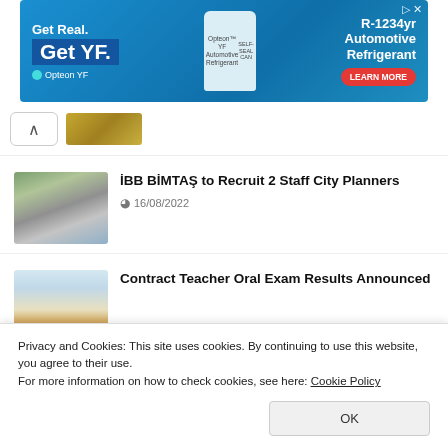[Figure (photo): Opteon YF automotive refrigerant advertisement banner with blue background, showing 'Get Real. Get YF.' text, Opteon YF bottle, and R-1234yf Automotive Refrigerant with LEARN MORE button]
[Figure (photo): Small thumbnail image, partially visible, showing a yellowish road or surface]
[Figure (photo): Aerial view thumbnail of a large building complex]
İBB BİMTAŞ to Recruit 2 Staff City Planners
16/08/2022
[Figure (photo): Thumbnail showing a person raising their hand in a classroom setting]
Contract Teacher Oral Exam Results Announced
Privacy and Cookies: This site uses cookies. By continuing to use this website, you agree to their use.
For more information on how to check cookies, see here: Cookie Policy